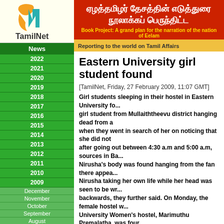[Figure (logo): TamilNet logo with orange and teal N symbol and TamilNet text below]
ஏழத்தமிழர் தேசத்தின் எடுத்துரை நூலாக்கப் பெருந்திட்ட
Book Project: A grand plan for the narration of the nation of Eelam
Reporting to the world on Tamil Affairs
News
2022
2021
2020
2019
2018
2017
2016
2015
2014
2013
2012
2011
2010
2009
December
November
October
September
August
July
June
May
April
March
Eastern University girl student found
[TamilNet, Friday, 27 February 2009, 11:07 GMT]
Girl students sleeping in their hostel in Eastern University found a girl student from Mullaiththeevu district hanging dead from a fan when they went in search of her on noticing that she did not return after going out between 4:30 a.m and 5:00 a.m, sources in Ba... Nirusha's body was found hanging from the fan there appear... Nirusha taking her own life while her head was seen to be wr... backwards, they further said. On Monday, the female hostel w... University Women's hostel, Marimuthu Premalatha, was four...
The student was identified as Thanabalasingam Nirusha, 23, a re... Mullaiththeevu district in Vanni and a first year student in the facu...
A letter found near the body said that she had no contacts with he... that she could no longer bear to live a lonely life, the sources add...
There was mention of a girl student, Piriya, suffering from similar... found near Nirusha's body, the students said.
Eastern University is located in Vanthaarumoolai East in Ea'raavo... Batticaloa district.
Chronology:
25.08.16  Sweeping the issue of ethnic assaults under carpet..
24.08.16  49 Tamil students boycott studies, demand security...